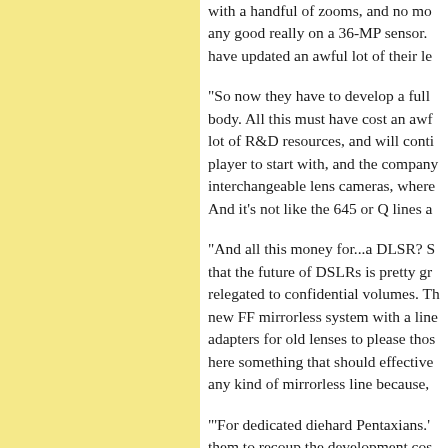with a handful of zooms, and no more any good really on a 36-MP sensor. have updated an awful lot of their le
"So now they have to develop a full body. All this must have cost an awf lot of R&D resources, and will conti player to start with, and the company interchangeable lens cameras, where And it's not like the 645 or Q lines a
"And all this money for...a DLSR? S that the future of DSLRs is pretty gr relegated to confidential volumes. Th new FF mirrorless system with a line adapters for old lenses to please thos here something that should effective any kind of mirrorless line because,
'For dedicated diehard Pentaxians.' them to recoup the development cos